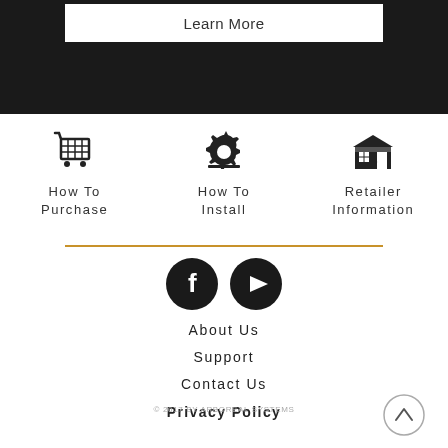Learn More
[Figure (illustration): Shopping cart icon]
How To Purchase
[Figure (illustration): Settings/install gear icon]
How To Install
[Figure (illustration): Retailer/store icon]
Retailer Information
[Figure (illustration): Facebook and YouTube social media icons]
About Us
Support
Contact Us
Privacy Policy
© 2017 BY ARBOREAL SYSTEMS